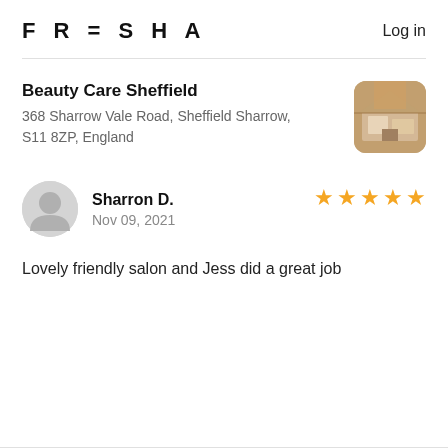FRESHA  Log in
Beauty Care Sheffield
368 Sharrow Vale Road, Sheffield Sharrow, S11 8ZP, England
[Figure (photo): Thumbnail photo of a beauty salon interior]
[Figure (illustration): Grey avatar/profile placeholder icon]
Sharron D.
Nov 09, 2021
★★★★★ (5 stars)
Lovely friendly salon and Jess did a great job